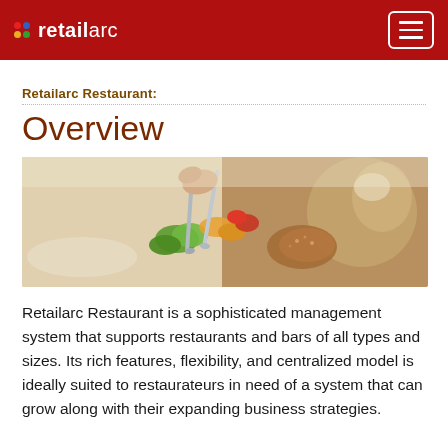retailarc
Retailarc Restaurant:
Overview
[Figure (photo): Close-up photo of food being plated or served at a restaurant, showing vegetables, tongs, and various dishes on a table.]
Retailarc Restaurant is a sophisticated management system that supports restaurants and bars of all types and sizes. Its rich features, flexibility, and centralized model is ideally suited to restaurateurs in need of a system that can grow along with their expanding business strategies.